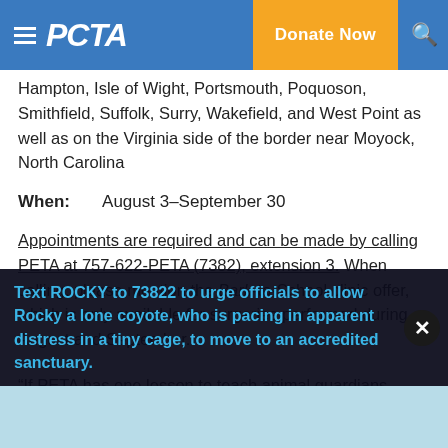PETA — Donate Now
Hampton, Isle of Wight, Portsmouth, Poquoson, Smithfield, Suffolk, Surry, Wakefield, and West Point as well as on the Virginia side of the border near Moyock, North Carolina
When: August 3–September 30
Appointments are required and can be made by calling PETA at 757-622-PETA (7382), extension 3. When calling, please mention the Bark-to-School clinic offer, which is only available for surgeries performed during August and September.
“If PETA has one lesson to teach animal guardians, it’s
Text ROCKY to 73822 to urge officials to allow Rocky a lone coyote, who is pacing in apparent distress in a tiny cage, to move to an accredited sanctuary.